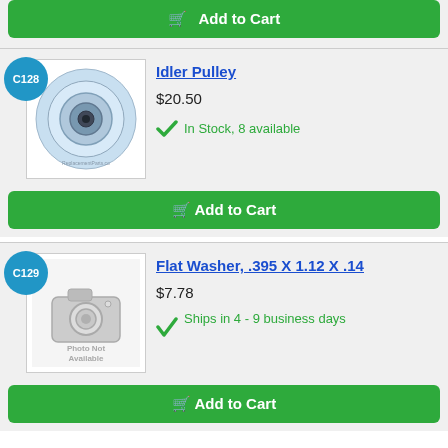[Figure (other): Green Add to Cart button with shopping cart icon, partially visible at top of page]
[Figure (photo): Idler Pulley product image - round blue/white pulley wheel]
Idler Pulley
$20.50
In Stock, 8 available
[Figure (other): Green Add to Cart button with shopping cart icon]
[Figure (photo): Photo Not Available placeholder image with camera icon]
Flat Washer, .395 X 1.12 X .14
$7.78
Ships in 4 - 9 business days
[Figure (other): Green Add to Cart button with shopping cart icon]